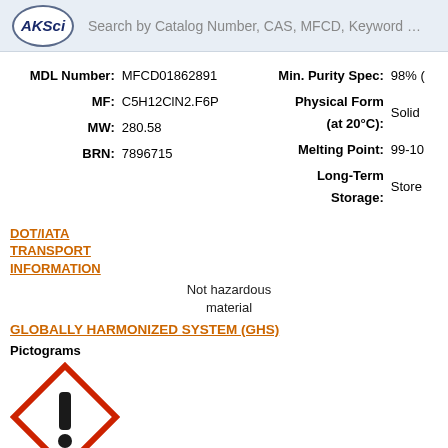AKSci — Search by Catalog Number, CAS, MFCD, Keyword …
| MDL Number: | MFCD01862891 |
| MF: | C5H12ClN2.F6P |
| MW: | 280.58 |
| BRN: | 7896715 |
| Min. Purity Spec: | 98% ( |
| Physical Form (at 20°C): | Solid |
| Melting Point: | 99-10 |
| Long-Term Storage: | Store |
DOT/IATA TRANSPORT INFORMATION
Not hazardous material
GLOBALLY HARMONIZED SYSTEM (GHS)
Pictograms
[Figure (illustration): GHS exclamation mark hazard pictogram — red diamond border with black exclamation mark inside on white background]
Signal Word
Warning
Hazard Statements